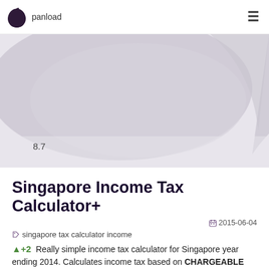panload
[Figure (illustration): Hero image showing a purple/lavender abstract rounded shape on a light grey background with a rating number '8.7' in the lower left area]
Singapore Income Tax Calculator+
2015-06-04
singapore tax calculator income
+2  Really simple income tax calculator for Singapore year ending 2014. Calculates income tax based on CHARGEABLE income. Chargeable income is net of relief and deductions. Great if you're thinking...